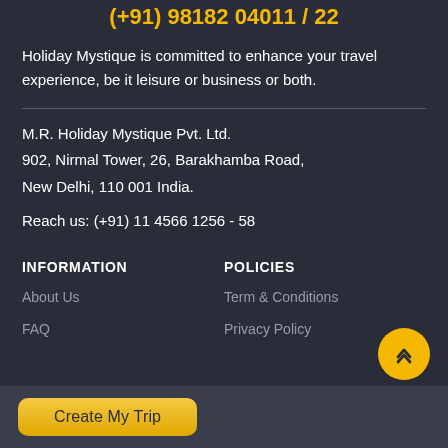(+91) 98182 04011 / 22
Holiday Mystique is committed to enhance your travel experience, be it leisure or business or both.
M.R. Holiday Mystique Pvt. Ltd.
902, Nirmal Tower, 26, Barakhamba Road,
New Delhi, 110 001 India.
Reach us: (+91) 11 4566 1256 - 58
INFORMATION
POLICIES
About Us
Term & Conditions
FAQ
Privacy Policy
Create My Trip